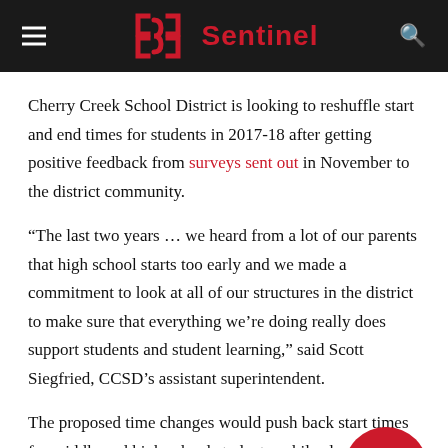Sentinel
Cherry Creek School District is looking to reshuffle start and end times for students in 2017-18 after getting positive feedback from surveys sent out in November to the district community.
“The last two years … we heard from a lot of our parents that high school starts too early and we made a commitment to look at all of our structures in the district to make sure that everything we’re doing really does support students and student learning,” said Scott Siegfried, CCSD’s assistant superintendent.
The proposed time changes would push back start times for middle and high school students, while elementary students would start earlier.